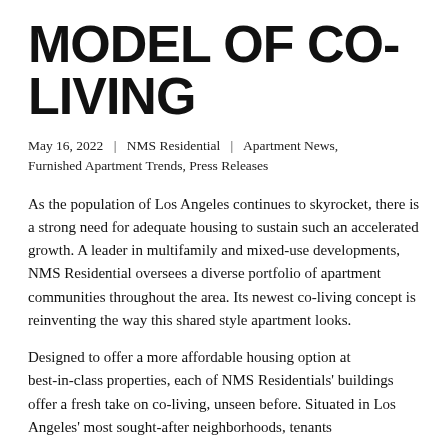MODEL OF CO-LIVING
May 16, 2022  |  NMS Residential  |  Apartment News, Furnished Apartment Trends, Press Releases
As the population of Los Angeles continues to skyrocket, there is a strong need for adequate housing to sustain such an accelerated growth. A leader in multifamily and mixed-use developments, NMS Residential oversees a diverse portfolio of apartment communities throughout the area. Its newest co-living concept is reinventing the way this shared style apartment looks.
Designed to offer a more affordable housing option at best-in-class properties, each of NMS Residentials' buildings offer a fresh take on co-living, unseen before. Situated in Los Angeles' most sought-after neighborhoods, tenants